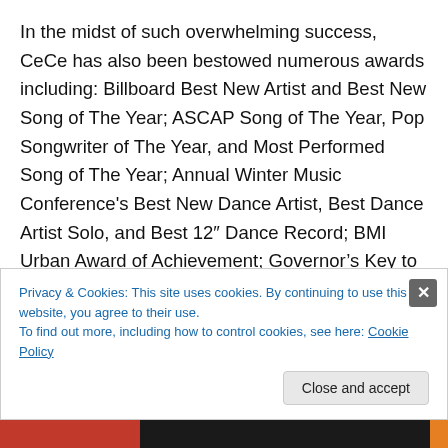In the midst of such overwhelming success, CeCe has also been bestowed numerous awards including: Billboard Best New Artist and Best New Song of The Year; ASCAP Song of The Year, Pop Songwriter of The Year, and Most Performed Song of The Year; Annual Winter Music Conference's Best New Dance Artist, Best Dance Artist Solo, and Best 12" Dance Record; BMI Urban Award of Achievement; Governor's Key to The State of Arizona for being a role model and for achievement; and CeCe was inducted into the Phoenix College Hall of Fame. CeCe also became a member of ASCAP in 1991, and...
Privacy & Cookies: This site uses cookies. By continuing to use this website, you agree to their use.
To find out more, including how to control cookies, see here: Cookie Policy